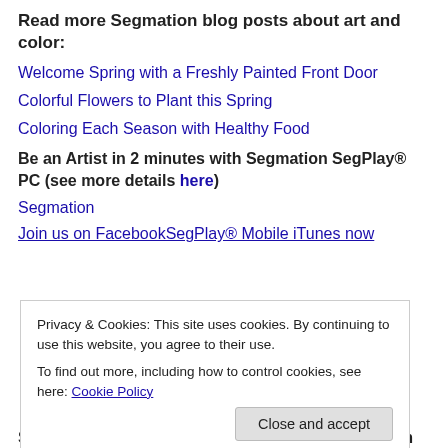Read more Segmation blog posts about art and color:
Welcome Spring with a Freshly Painted Front Door
Colorful Flowers to Plant this Spring
Coloring Each Season with Healthy Food
Be an Artist in 2 minutes with Segmation SegPlay® PC (see more details here)
Segmation
Join us on FacebookSegPlay® Mobile iTunes now
Privacy & Cookies: This site uses cookies. By continuing to use this website, you agree to their use. To find out more, including how to control cookies, see here: Cookie Policy
Share Segmation's "Outside the Lines" blog with